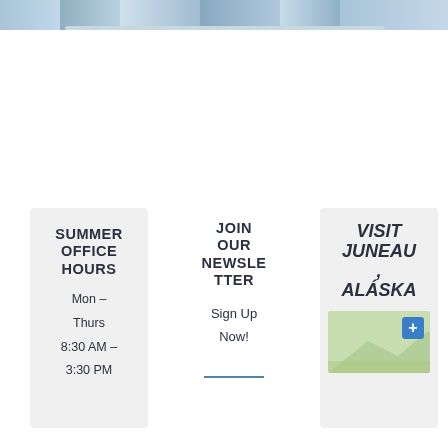[Figure (photo): Partial photo at top of page showing sky and water scene, cropped at top edge]
SUMMER OFFICE HOURS
Mon - Thurs
8:30 AM - 3:30 PM
JOIN OUR NEWSLETTER
Sign Up Now!
VISIT JUNEAU, ALASKA
[Figure (map): Thumbnail map of Juneau Alaska with blue plus button]